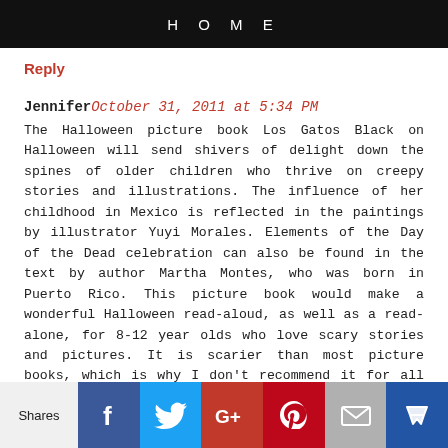HOME
Reply
Jennifer October 31, 2011 at 5:34 PM
The Halloween picture book Los Gatos Black on Halloween will send shivers of delight down the spines of older children who thrive on creepy stories and illustrations. The influence of her childhood in Mexico is reflected in the paintings by illustrator Yuyi Morales. Elements of the Day of the Dead celebration can also be found in the text by author Martha Montes, who was born in Puerto Rico. This picture book would make a wonderful Halloween read-aloud, as well as a read-alone, for 8-12 year olds who love scary stories and pictures. It is scarier than most picture books, which is why I don't recommend it for all ages or all 8-12 year olds.
Reply
[Figure (infographic): Social sharing bar with Facebook, Twitter, Google+, Pinterest, Email, and Crown/bookmark icons, preceded by a Shares label]